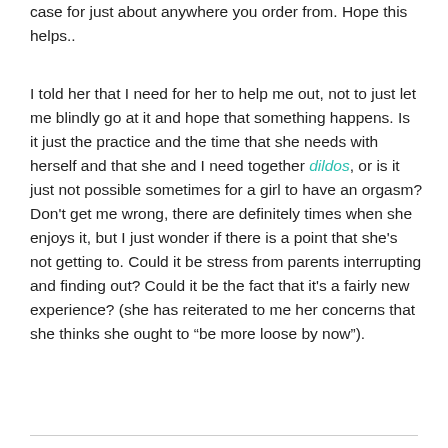case for just about anywhere you order from. Hope this helps..
I told her that I need for her to help me out, not to just let me blindly go at it and hope that something happens. Is it just the practice and the time that she needs with herself and that she and I need together dildos, or is it just not possible sometimes for a girl to have an orgasm? Don't get me wrong, there are definitely times when she enjoys it, but I just wonder if there is a point that she's not getting to. Could it be stress from parents interrupting and finding out? Could it be the fact that it's a fairly new experience? (she has reiterated to me her concerns that she thinks she ought to “be more loose by now”).